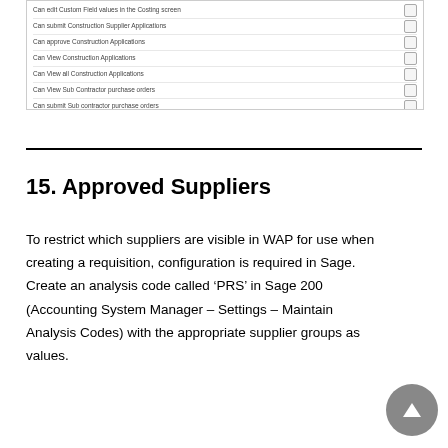[Figure (screenshot): A screenshot of a software permissions/settings panel showing a list of construction-related permissions with checkboxes, and a footer bar labeled 'Users in user type']
15. Approved Suppliers
To restrict which suppliers are visible in WAP for use when creating a requisition, configuration is required in Sage. Create an analysis code called ‘PRS’ in Sage 200 (Accounting System Manager – Settings – Maintain Analysis Codes) with the appropriate supplier groups as values.